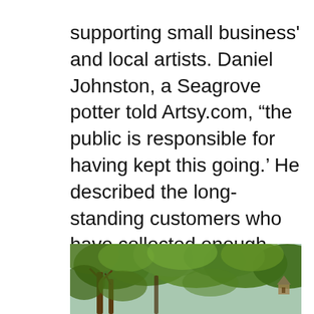supporting small business and local artists. Daniel Johnston, a Seagrove potter told Artsy.com, “the public is responsible for having kept this going.’ He described the long-standing customers who have collected enough pottery to use handmade dishes during every meal, and remarked that customers ‘are owed a great deal of respect for having maintained that’”. Due to the COVID-19 pandemic, traveling is not recommended; however, for the time being, you can explore Seagrove and its lovely potters online! Discover this niche environment that has sustained potters for thousands of years.
[Figure (photo): Outdoor photo showing dense green tree foliage with tree trunks visible, and a small cabin or structure visible in the background on the right side.]